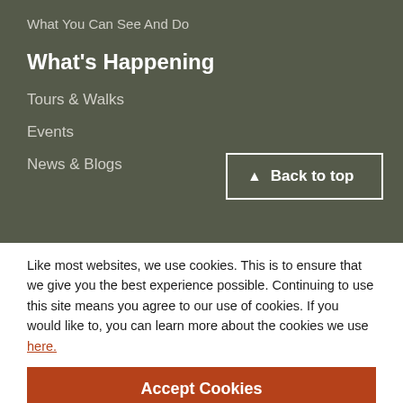What You Can See And Do
What's Happening
Tours & Walks
Events
News & Blogs
Back to top
Like most websites, we use cookies. This is to ensure that we give you the best experience possible. Continuing to use this site means you agree to our use of cookies. If you would like to, you can learn more about the cookies we use here.
Accept Cookies